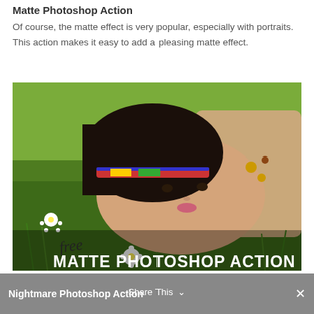Matte Photoshop Action
Of course, the matte effect is very popular, especially with portraits. This action makes it easy to add a pleasing matte effect.
[Figure (photo): A woman with dark hair lying in green grass with daisies, wearing a colorful headband and accessories. Overlaid text reads 'free' in handwritten script and 'MATTE PHOTOSHOP ACTION' in bold white capitals.]
Share This  ∨   Nightmare Photoshop Action  ×